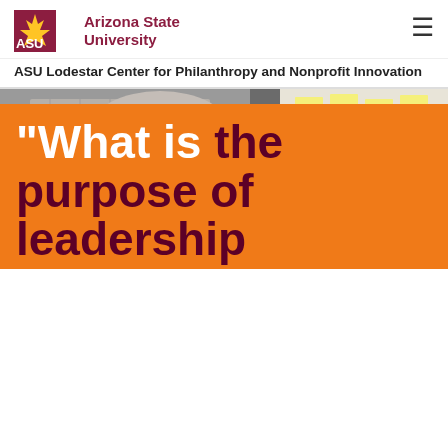ASU Arizona State University
ASU Lodestar Center for Philanthropy and Nonprofit Innovation
[Figure (photo): Close-up photo of a person in a checkered shirt writing or placing sticky notes on a wall covered with yellow sticky notes.]
QUESTION #6
"What is the purpose of leadership